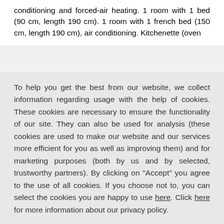conditioning and forced-air heating. 1 room with 1 bed (90 cm, length 190 cm). 1 room with 1 french bed (150 cm, length 190 cm), air conditioning. Kitchenette (oven
To help you get the best from our website, we collect information regarding usage with the help of cookies. These cookies are necessary to ensure the functionality of our site. They can also be used for analysis (these cookies are used to make our website and our services more efficient for you as well as improving them) and for marketing purposes (both by us and by selected, trustworthy partners). By clicking on "Accept" you agree to the use of all cookies. If you choose not to, you can select the cookies you are happy to use here. Click here for more information about our privacy policy.
Accept
Decline
Configure